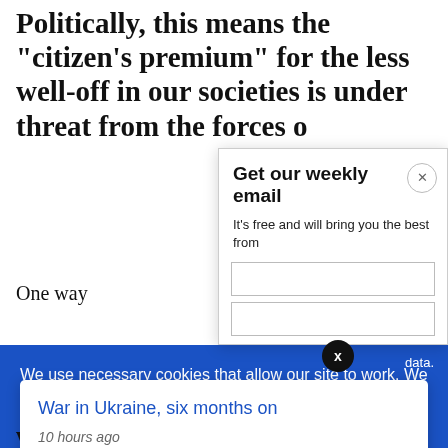Politically, this means the "citizen's premium" for the less well-off in our societies is under threat from the forces of
One way
[Figure (screenshot): Get our weekly email modal overlay with close button and subtitle text: It's free and will bring you the best from]
We use necessary cookies that allow our site to work. We also set optional cookies that help us improve our website. For more information about the types of cookies we use. READ OUR COOKIES POLICY HERE
COOKIE
ALLOW
S
data.
[Figure (screenshot): Notification card: War in Ukraine, six months on — 10 hours ago]
were goir